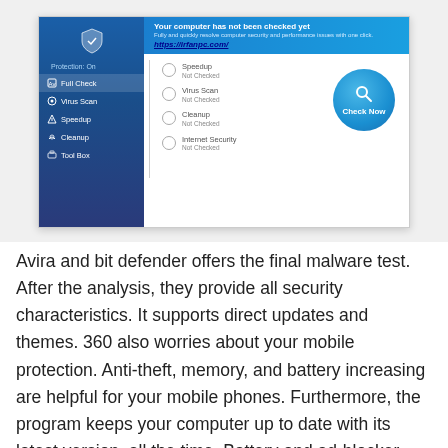[Figure (screenshot): Screenshot of an antivirus software (360 Total Security or similar) showing a sidebar with Full Check, Virus Scan, Speedup, Cleanup, Tool Box menu items. Main panel shows 'Your computer has not been checked yet', a URL https://irfanpc.com/, and check items: Speedup Not Checked, Virus Scan Not Checked, Cleanup Not Checked, Internet Security Not Checked, plus a blue 'Check Now' circular button.]
Avira and bit defender offers the final malware test. After the analysis, they provide all security characteristics. It supports direct updates and themes. 360 also worries about your mobile protection. Anti-theft, memory, and battery increasing are helpful for your mobile phones. Furthermore, the program keeps your computer up to date with its latest version, all the time. Battery and ad-blocker boost up the internet speed. It helps you in fast and secure browsing. Its browser plugins have cloud-based technology. However, this technology monitors the security of the websites, you are using. It also makes a bond of sites with a URL database